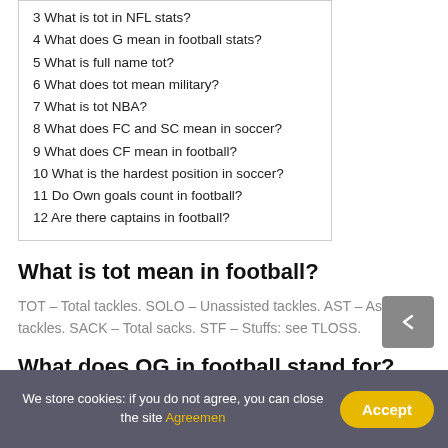3 What is tot in NFL stats?
4 What does G mean in football stats?
5 What is full name tot?
6 What does tot mean military?
7 What is tot NBA?
8 What does FC and SC mean in soccer?
9 What does CF mean in football?
10 What is the hardest position in soccer?
11 Do Own goals count in football?
12 Are there captains in football?
What is tot mean in football?
TOT – Total tackles. SOLO – Unassisted tackles. AST – Assisted tackles. SACK – Total sacks. STF – Stuffs: see TLOSS.
What does OG in football stand for?
We store cookies: if you do not agree, you can close the site Agreemen